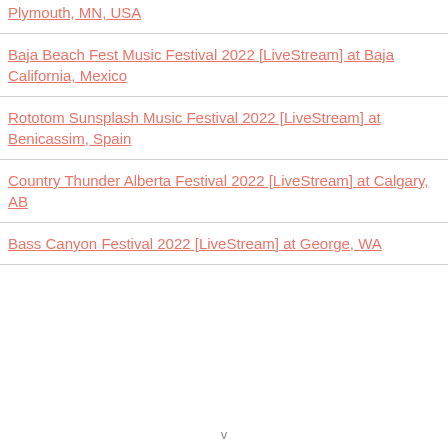Plymouth, MN, USA
Baja Beach Fest Music Festival 2022 [LiveStream] at Baja California, Mexico
Rototom Sunsplash Music Festival 2022 [LiveStream] at Benicassim, Spain
Country Thunder Alberta Festival 2022 [LiveStream] at Calgary, AB
Bass Canyon Festival 2022 [LiveStream] at George, WA
v